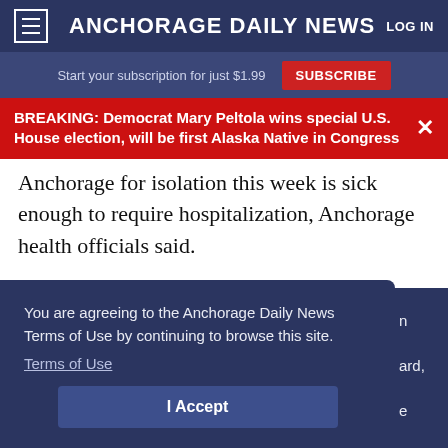Anchorage Daily News
Start your subscription for just $1.99  SUBSCRIBE
BREAKING: Democrat Mary Peltola wins special U.S. House election, will be first Alaska Native in Congress
Anchorage for isolation this week is sick enough to require hospitalization, Anchorage health officials said.
You are agreeing to the Anchorage Daily News Terms of Use by continuing to browse this site.
Terms of Use
I Accept